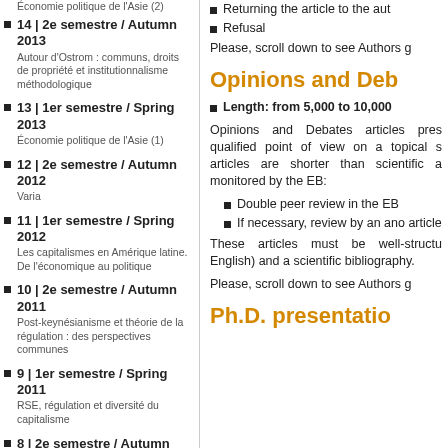14 | 2e semestre / Autumn 2013
Autour d'Ostrom : communs, droits de propriété et institutionnalisme méthodologique
13 | 1er semestre / Spring 2013
Économie politique de l'Asie (1)
12 | 2e semestre / Autumn 2012
Varia
11 | 1er semestre / Spring 2012
Les capitalismes en Amérique latine. De l'économique au politique
10 | 2e semestre / Autumn 2011
Post-keynésianisme et théorie de la régulation : des perspectives communes
9 | 1er semestre / Spring 2011
RSE, régulation et diversité du capitalisme
8 | 2e semestre / Autumn 2010
Varia
7 | 1er semestre / Spring 2010
Institutions, régulation et développement - 2
Returning the article to the author
Refusal
Please, scroll down to see Authors g
Opinions and Deb
Length: from 5,000 to 10,000
Opinions and Debates articles present a qualified point of view on a topical s articles are shorter than scientific a monitored by the EB:
Double peer review in the EB
If necessary, review by an ano article
These articles must be well-structu English) and a scientific bibliography.
Please, scroll down to see Authors g
Ph.D. presentation